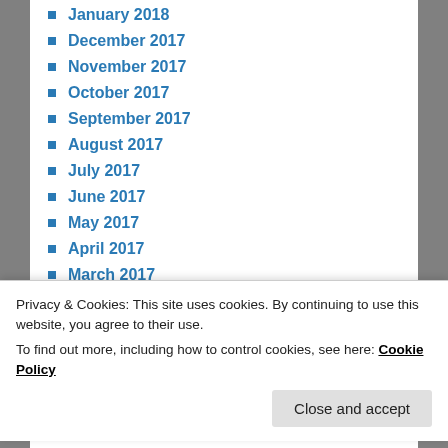January 2018
December 2017
November 2017
October 2017
September 2017
August 2017
July 2017
June 2017
May 2017
April 2017
March 2017
February 2017
January 2017
December 2016
November 2016
Privacy & Cookies: This site uses cookies. By continuing to use this website, you agree to their use.
To find out more, including how to control cookies, see here: Cookie Policy